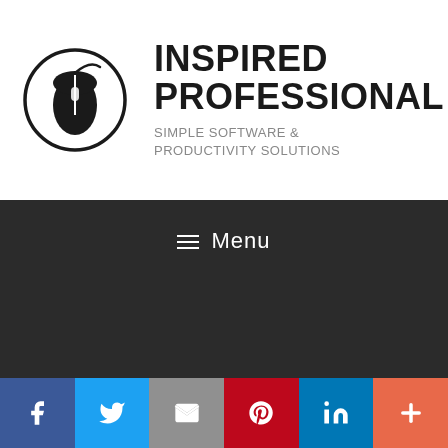[Figure (logo): Inspired Professional logo: a computer mouse inside a circle, with bold text 'INSPIRED PROFESSIONAL' and subtitle 'SIMPLE SOFTWARE & PRODUCTIVITY SOLUTIONS']
INSPIRED PROFESSIONAL
SIMPLE SOFTWARE & PRODUCTIVITY SOLUTIONS
≡ Menu
[Figure (infographic): Social sharing bar with six buttons: Facebook (f), Twitter (bird), Email (envelope), Pinterest (P), LinkedIn (in), More (+)]